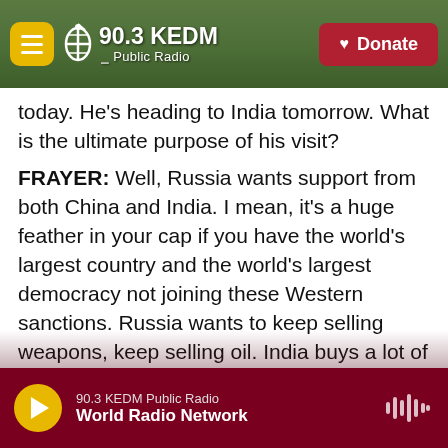[Figure (screenshot): 90.3 KEDM Public Radio website navigation bar with hamburger menu, logo, and red Donate button over a forest background]
today. He's heading to India tomorrow. What is the ultimate purpose of his visit?
FRAYER: Well, Russia wants support from both China and India. I mean, it's a huge feather in your cap if you have the world's largest country and the world's largest democracy not joining these Western sanctions. Russia wants to keep selling weapons, keep selling oil. India buys a lot of both of those from Russia. And so Sergey Lavrov may be discussing new ways to try to get around Western sanctions and keep selling that oil. India right now is suffering from really high inflation. It has a huge,
[Figure (screenshot): 90.3 KEDM Public Radio audio player bar showing World Radio Network playing, with play button and waveform icon]